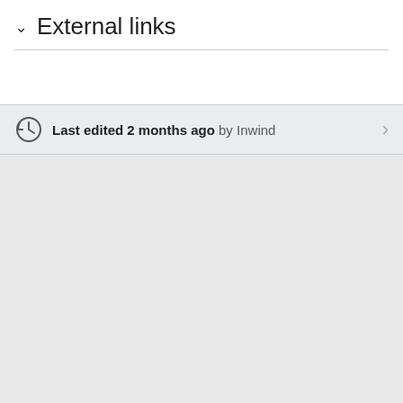External links
Last edited 2 months ago by Inwind